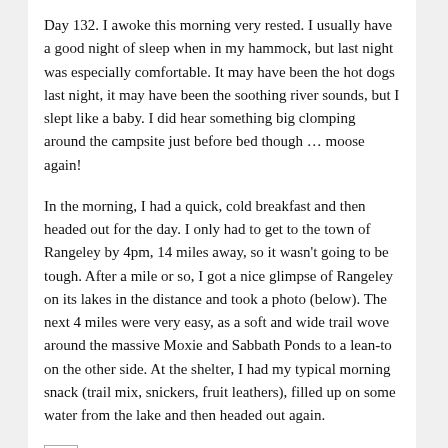Day 132. I awoke this morning very rested. I usually have a good night of sleep when in my hammock, but last night was especially comfortable. It may have been the hot dogs last night, it may have been the soothing river sounds, but I slept like a baby. I did hear something big clomping around the campsite just before bed though … moose again!
In the morning, I had a quick, cold breakfast and then headed out for the day. I only had to get to the town of Rangeley by 4pm, 14 miles away, so it wasn't going to be tough. After a mile or so, I got a nice glimpse of Rangeley on its lakes in the distance and took a photo (below). The next 4 miles were very easy, as a soft and wide trail wove around the massive Moxie and Sabbath Ponds to a lean-to on the other side. At the shelter, I had my typical morning snack (trail mix, snickers, fruit leathers), filled up on some water from the lake and then headed out again.
[Figure (other): Small empty placeholder image box]